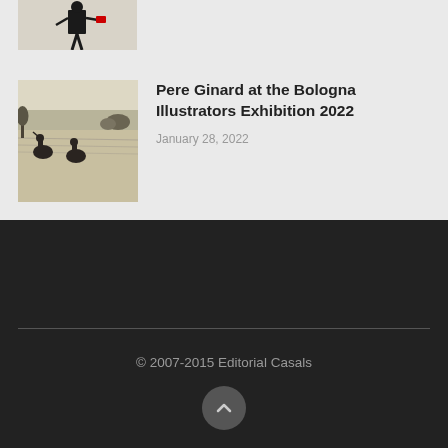[Figure (illustration): Partial thumbnail of an illustration showing a figure in black suit at top left of page]
[Figure (illustration): Thumbnail image showing historical scene with figures on horseback near water, sketch/watercolor style]
Pere Ginard at the Bologna Illustrators Exhibition 2022
January 28, 2022
© 2007-2015 Editorial Casals